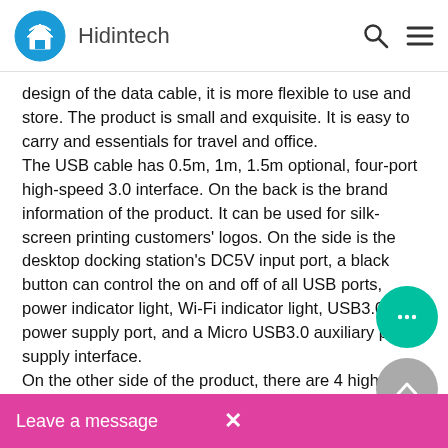Hidintech
design of the data cable, it is more flexible to use and store. The product is small and exquisite. It is easy to carry and essentials for travel and office.
The USB cable has 0.5m, 1m, 1.5m optional, four-port high-speed 3.0 interface. On the back is the brand information of the product. It can be used for silk-screen printing customers' logos. On the side is the desktop docking station's DC5V input port, a black button can control the on and off of all USB ports, power indicator light, Wi-Fi indicator light, USB3.0 power supply port, and a Micro USB3.0 auxiliary power supply interface.
On the other side of the product, there are 4 high-speed 3.0 USB output ports. At the same time, each USB output port can be opened or closed separately through the mobile phone, which is energy-saving and pra
Product Parameter
Input: USB 3.0 male interface. You can also connect to TypeC, but the tra
Leave a message